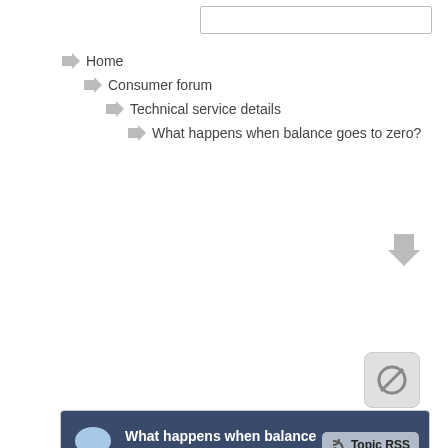Home
Consumer forum
Technical service details
What happens when balance goes to zero?
What happens when balance goes to zero?
November 5, 2019 7:20 pm
agent99
Member
Members
Forum Posts: 3